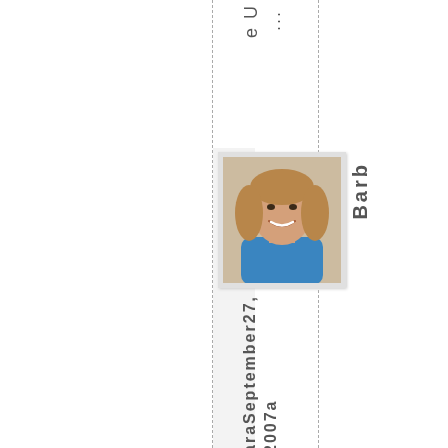e U ...
[Figure (photo): Portrait photo of a smiling woman with light brown hair, wearing a blue top, white border frame]
Barb
ara September 27, 2007 a